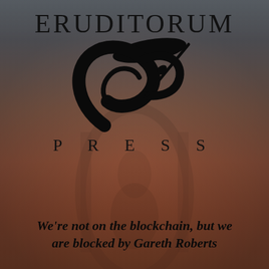[Figure (logo): Eruditorum Press logo: stylized EP monogram in black with sweeping calligraphic strokes, above the word PRESS in spaced capitals, and ERUDITORUM in serif capitals above the monogram. Background is a dark reddish-brown painterly illustration.]
We're not on the blockchain, but we are blocked by Gareth Roberts